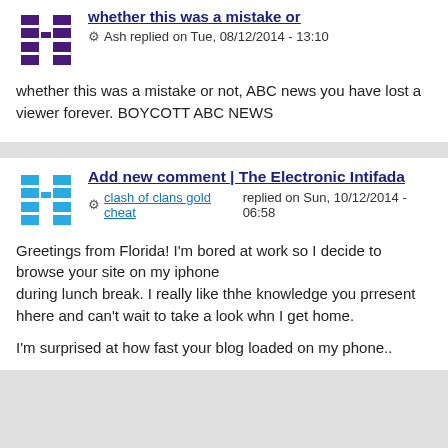whether this was a mistake or
Ash replied on Tue, 08/12/2014 - 13:10
whether this was a mistake or not, ABC news you have lost a viewer forever. BOYCOTT ABC NEWS
Add new comment | The Electronic Intifada
clash of clans gold cheat replied on Sun, 10/12/2014 - 06:58
Greetings from Florida! I'm bored at work so I decide to browse your site on my iphone during lunch break. I really like thhe knowledge you prresent hhere and can't wait to take a look whn I get home.
I'm surprised at how fast your blog loaded on my phone..